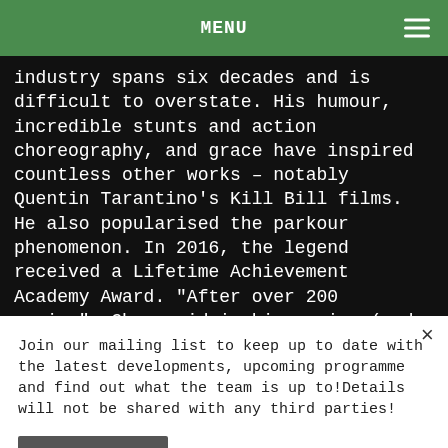MENU
industry spans six decades and is difficult to overstate. His humour, incredible stunts and action choreography, and grace have inspired countless other works – notably Quentin Tarantino's Kill Bill films. He also popularised the parkour phenomenon. In 2016, the legend received a Lifetime Achievement Academy Award. "After over 200 movies", Chan said in his moving (and often hilarious) acceptance speech, "I broke so many bones. Finally this is mine".
Join our mailing list to keep up to date with the latest developments, upcoming programme and find out what the team is up to!Details will not be shared with any third parties!
Subscribe